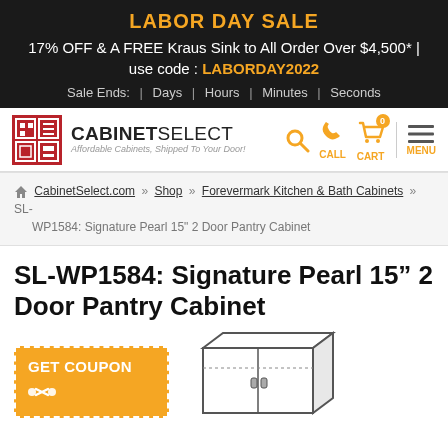LABOR DAY SALE
17% OFF & A FREE Kraus Sink to All Order Over $4,500* | use code : LABORDAY2022
Sale Ends: | Days | Hours | Minutes | Seconds
[Figure (logo): CabinetSelect logo with red icon, bold text CABINETSELECT and tagline 'Affordable Cabinets, Shipped To Your Door!']
CabinetSelect.com >> Shop >> Forevermark Kitchen & Bath Cabinets >> SL-WP1584: Signature Pearl 15" 2 Door Pantry Cabinet
SL-WP1584: Signature Pearl 15” 2 Door Pantry Cabinet
[Figure (illustration): GET COUPON button with scissors icon and a line-art illustration of a pantry cabinet]